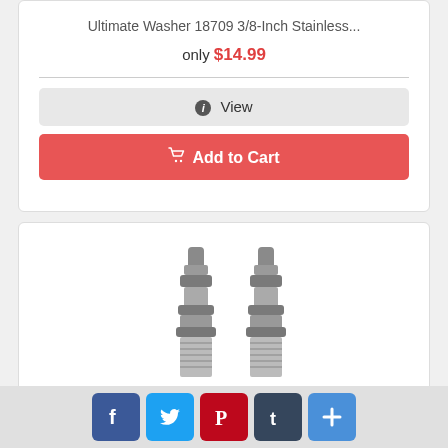Ultimate Washer 18709 3/8-Inch Stainless...
only $14.99
View
Add to Cart
[Figure (photo): Two stainless steel pressure washer quick-connect male plugs]
Ultimate Washer 18717 Pressure Washers S...
Social share buttons: Facebook, Twitter, Pinterest, Tumblr, More